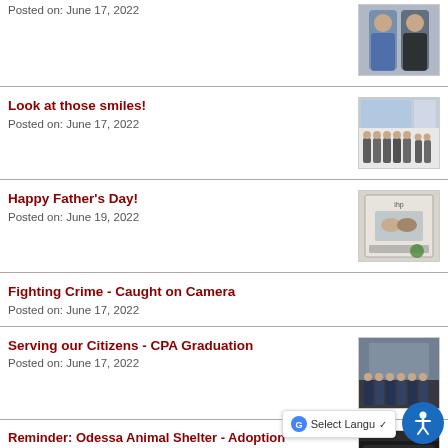Posted on: June 17, 2022
[Figure (photo): Two people posing together, one in a plaid shirt]
Look at those smiles!
Posted on: June 17, 2022
[Figure (photo): Group of people standing together in a large room]
Happy Father's Day!
Posted on: June 19, 2022
[Figure (photo): Father's Day greeting card with hands clasped]
Fighting Crime - Caught on Camera
Posted on: June 17, 2022
Serving our Citizens - CPA Graduation
Posted on: June 17, 2022
[Figure (photo): Group of people in dark uniforms standing outside a building]
Reminder: Odessa Animal Shelter - Adoption Event
[Figure (photo): Adoption event flyer/image]